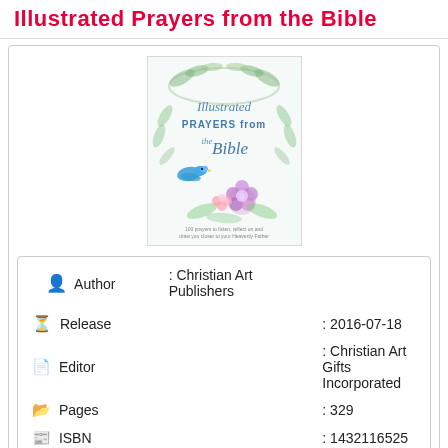Illustrated Prayers from the Bible
[Figure (photo): Book cover of 'Illustrated Prayers from the Bible' with floral and bird watercolor art]
| Field | Value |
| --- | --- |
| Author | : Christian Art Publishers |
| Release | : 2016-07-18 |
| Editor | : Christian Art Gifts Incorporated |
| Pages | : 329 |
| ISBN | : 1432116525 |
| Language | : en |
| Available for | : [Apple, Windows, Linux, Android icons] |